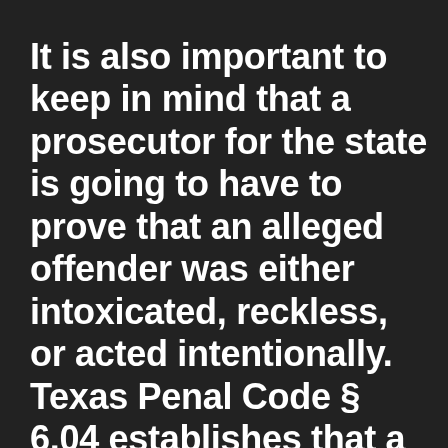It is also important to keep in mind that a prosecutor for the state is going to have to prove that an alleged offender was either intoxicated, reckless, or acted intentionally. Texas Penal Code § 6.04 establishes that a person is criminally responsible if the result would not have occurred but